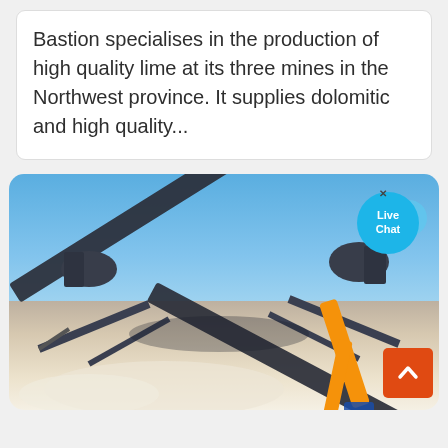Bastion specialises in the production of high quality lime at its three mines in the Northwest province. It supplies dolomitic and high quality...
[Figure (photo): Photograph of a lime mining facility showing large conveyor belt structures crossing in an X-pattern against a blue sky, with white lime/mineral ground in the foreground. An orange excavator arm is partially visible at the lower right. A 'Live Chat' bubble UI overlay appears in the upper right corner, and an orange scroll-to-top button appears in the lower right.]